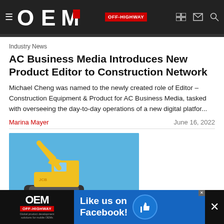OEM OFF-HIGHWAY
Industry News
AC Business Media Introduces New Product Editor to Construction Network
Michael Cheng was named to the newly created role of Editor – Construction Equipment & Product for AC Business Media, tasked with overseeing the day-to-day operations of a new digital platfor...
Marina Mayer    June 16, 2022
[Figure (photo): Yellow excavator (JCB) against a blue sky background]
Industry News
[Figure (infographic): OEM Off-Highway ad banner: Like us on Facebook! with thumbs up icon]